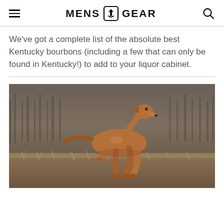MENS GEAR
We've got a complete list of the absolute best Kentucky bourbons (including a few that can only be found in Kentucky!) to add to your liquor cabinet.
[Figure (photo): A Vizsla dog in a pointing stance, photographed outdoors in a field with dry grass and blurred trees in the background. The dog is a golden-rust color and is lifting one front paw in a classic hunting dog pose.]